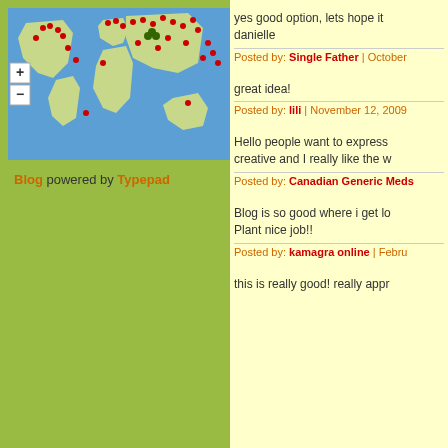[Figure (map): World map with red dot markers scattered across various countries, plus/minus zoom controls on left side]
Blog powered by Typepad
yes good option, lets hope it ... danielle
Posted by: Single Father | October
great idea!
Posted by: lili | November 12, 2009
Hello people want to express... creative and I really like the w...
Posted by: Canadian Generic Meds
Blog is so good where i get lo... Plant nice job!!
Posted by: kamagra online | Febru...
this is really good! really appr...